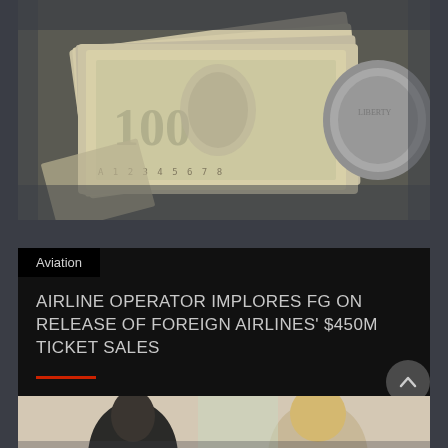[Figure (photo): Overhead view of stacked US dollar bills and coins on a dark background]
Aviation
AIRLINE OPERATOR IMPLORES FG ON RELEASE OF FOREIGN AIRLINES' $450M TICKET SALES
[Figure (photo): Two people visible at bottom of frame, partial view]